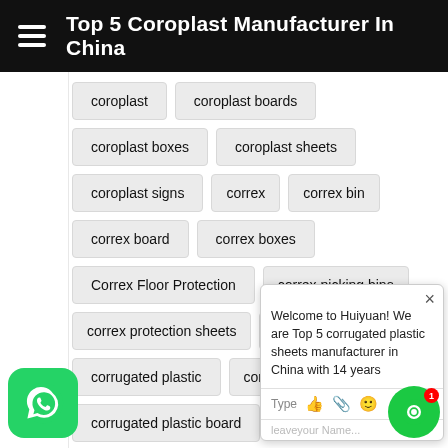Top 5 Coroplast Manufacturer In China
coroplast
coroplast boards
coroplast boxes
coroplast sheets
coroplast signs
correx
correx bin
correx board
correx boxes
Correx Floor Protection
correx picking bins
correx protection sheets
correx sheets
corrugated plastic
corrugated plastic
corrugated plastic board
corrugated plastic boxes
corrugated plastic sheets
corrugated plastic signs
Welcome to Huiyuan! We are Top 5 corrugated plastic sheets manufacturer in China with 14 years